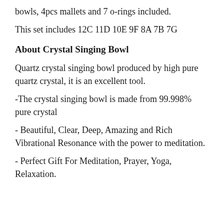bowls, 4pcs mallets and 7 o-rings included.
This set includes 12C 11D 10E 9F 8A 7B 7G
About Crystal Singing Bowl
Quartz crystal singing bowl produced by high pure quartz crystal, it is an excellent tool.
-The crystal singing bowl is made from 99.998% pure crystal
- Beautiful, Clear, Deep, Amazing and Rich Vibrational Resonance with the power to meditation.
- Perfect Gift For Meditation, Prayer, Yoga, Relaxation.